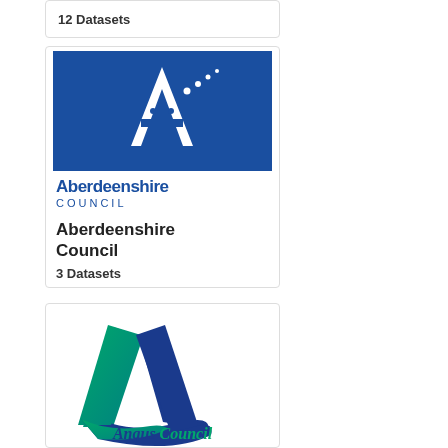12 Datasets
[Figure (logo): Aberdeenshire Council logo: white letter A on dark blue background with dots forming a line]
Aberdeenshire Council
3 Datasets
[Figure (logo): Angus Council logo: stylized teal and blue letter A with curved element, text 'Angus Council' in blue italic]